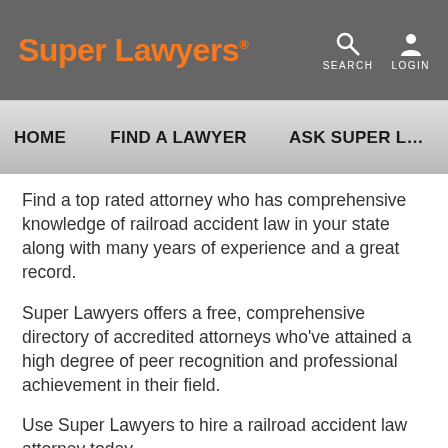Super Lawyers® | SEARCH | LOGIN
HOME   FIND A LAWYER   ASK SUPER L…
Find a top rated attorney who has comprehensive knowledge of railroad accident law in your state along with many years of experience and a great record.
Super Lawyers offers a free, comprehensive directory of accredited attorneys who've attained a high degree of peer recognition and professional achievement in their field.
Use Super Lawyers to hire a railroad accident law attorney today.
Are you searching for a top railroad accident lawyer in Dickson City, Pennsylvania?
The…